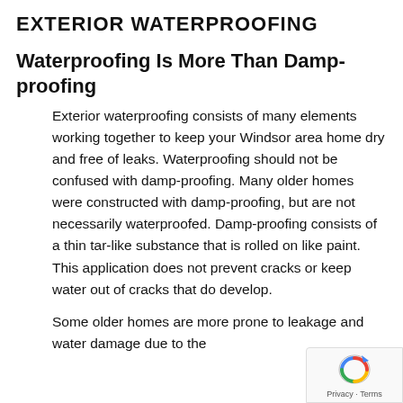EXTERIOR WATERPROOFING
Waterproofing Is More Than Damp-proofing
Exterior waterproofing consists of many elements working together to keep your Windsor area home dry and free of leaks. Waterproofing should not be confused with damp-proofing. Many older homes were constructed with damp-proofing, but are not necessarily waterproofed. Damp-proofing consists of a thin tar-like substance that is rolled on like paint. This application does not prevent cracks or keep water out of cracks that do develop.
Some older homes are more prone to leakage and water damage due to the